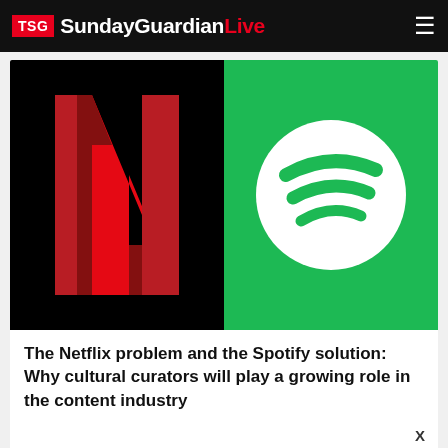TSG SundayGuardianLive
[Figure (illustration): Split image: left half shows Netflix logo (red N on black background), right half shows Spotify logo (white circle with green sound wave arcs on green background)]
The Netflix problem and the Spotify solution: Why cultural curators will play a growing role in the content industry
[Figure (screenshot): Firestone app advertisement with red shield logo, text 'Firestone - Download The Free App' and a red Download button]